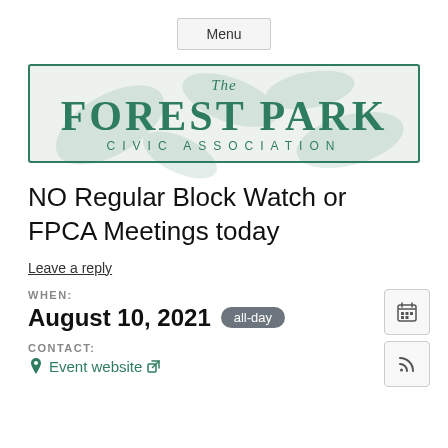Menu
[Figure (logo): The Forest Park Civic Association logo — green border rectangle with green serif text reading 'The FOREST PARK CIVIC ASSOCIATION' on a light green/grey leaf-patterned background]
NO Regular Block Watch or FPCA Meetings today
Leave a reply
WHEN:
August 10, 2021  all-day
CONTACT:
Event website